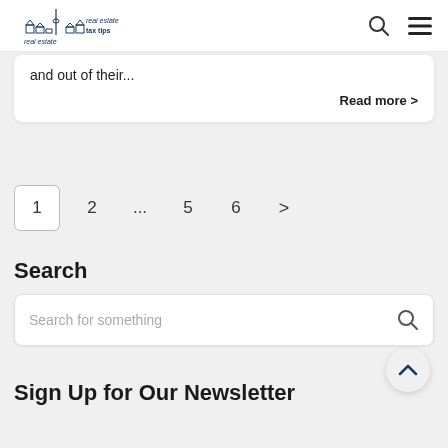real estate tax tips
and out of their...
Read more >
1  2  ...  5  6  >
Search
Search for something
Sign Up for Our Newsletter